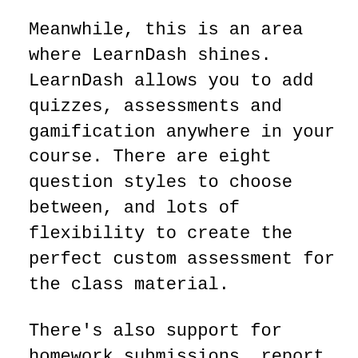Meanwhile, this is an area where LearnDash shines. LearnDash allows you to add quizzes, assessments and gamification anywhere in your course. There are eight question styles to choose between, and lots of flexibility to create the perfect custom assessment for the class material.
There's also support for homework submissions, report cards, and grade books. LearnDash also bakes their content into learni...